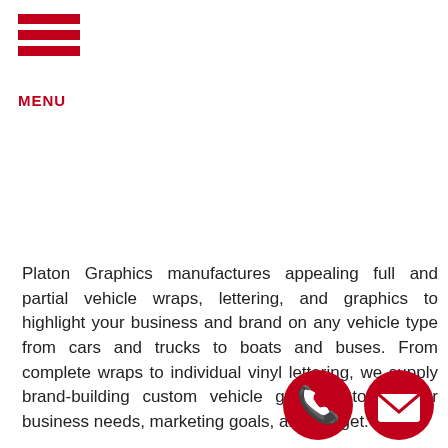[Figure (logo): Red hamburger menu icon with three horizontal red bars and red MENU label below]
Platon Graphics manufactures appealing full and partial vehicle wraps, lettering, and graphics to highlight your business and brand on any vehicle type from cars and trucks to boats and buses. From complete wraps to individual vinyl lettering, we supply brand-building custom vehicle graphics to fit your business needs, marketing goals, and budget.
Custom vinyl lettering can also help keep you out of legal trouble. Some facts and details are required on commercial vehicles, like state license numbers, DOT information. We know what it takes to comply with local
[Figure (illustration): Red circular phone call icon overlapping bottom-right area]
[Figure (illustration): Red circular mail/envelope icon at bottom right]